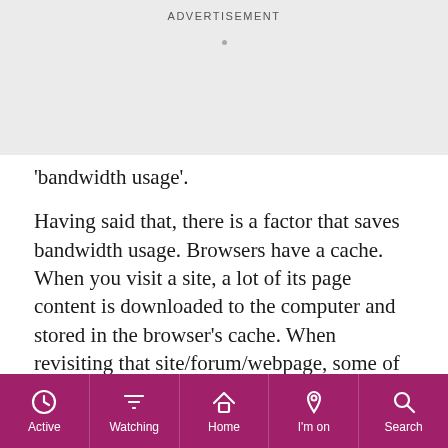[Figure (other): Advertisement banner area with 'ADVERTISEMENT' label and a small dot placeholder]
'bandwidth usage'.
Having said that, there is a factor that saves bandwidth usage. Browsers have a cache. When you visit a site, a lot of its page content is downloaded to the computer and stored in the browser's cache. When revisiting that site/forum/webpage, some of the content will drawn from the browser cache and isn't downloaded again. This saves bandwidth usage so won't use up the allowance. This certainly applies to images although (I believe) not videos.
[Figure (other): Bottom navigation bar with icons: Active (clock), Watching (filter), Home (house), I'm on (pin), Search (magnifier)]